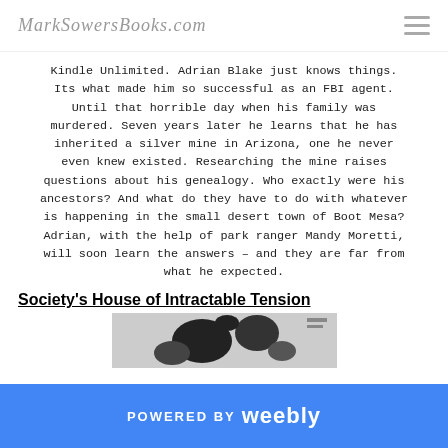MarkSowersBooks.com
Kindle Unlimited. Adrian Blake just knows things. Its what made him so successful as an FBI agent. Until that horrible day when his family was murdered. Seven years later he learns that he has inherited a silver mine in Arizona, one he never even knew existed. Researching the mine raises questions about his genealogy. Who exactly were his ancestors? And what do they have to do with whatever is happening in the small desert town of Boot Mesa? Adrian, with the help of park ranger Mandy Moretti, will soon learn the answers – and they are far from what he expected.
Society's House of Intractable Tension
[Figure (photo): Partial view of a book cover image, black and white with map-like imagery]
POWERED BY weebly